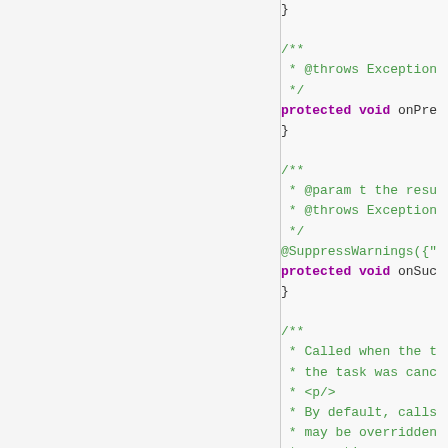[Figure (screenshot): Source code screenshot showing Java code with Javadoc comments and method declarations. Left panel is a white/grey sidebar. Right panel shows code with comments in green, keywords in bold purple, and normal code text. Visible code includes closing brace, Javadoc with @throws Exception, protected void onPre... method, another Javadoc with @param t and @throws Exception, @SuppressWarnings annotation, protected void onSuc... method, and another Javadoc comment about Called when the task was cancelled with <p/> and By default calls... may be overridden... exceptions.]